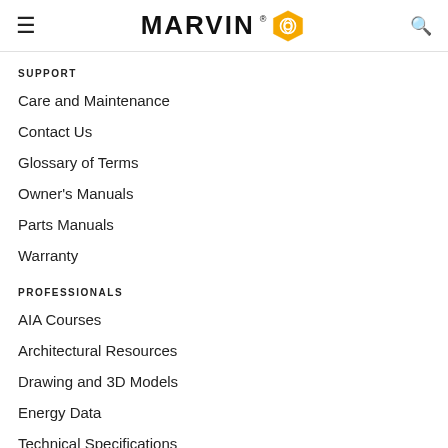MARVIN
SUPPORT
Care and Maintenance
Contact Us
Glossary of Terms
Owner's Manuals
Parts Manuals
Warranty
PROFESSIONALS
AIA Courses
Architectural Resources
Drawing and 3D Models
Energy Data
Technical Specifications
Tours and Training